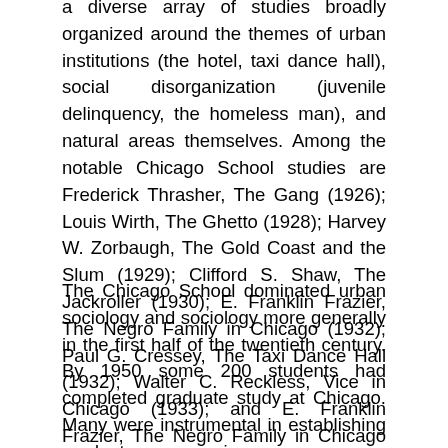a diverse array of studies broadly organized around the themes of urban institutions (the hotel, taxi dance hall), social disorganization (juvenile delinquency, the homeless man), and natural areas themselves. Among the notable Chicago School studies are Frederick Thrasher, The Gang (1926); Louis Wirth, The Ghetto (1928); Harvey W. Zorbaugh, The Gold Coast and the Slum (1929); Clifford S. Shaw, The Jackroller (1930); E. Franklin Frazier, The Negro Family in Chicago (1932); Paul G. Cressey, The Taxi Dance Hall (1932); Walter C. Reckless, Vice in Chicago (1933); and E. Franklin Frazier, The Negro Family in Chicago (1932).
The Chicago School dominated urban sociology and sociology more generally in the first half of the twentieth century. By 1950 some 200 students had completed graduate study at Chicago. Many were instrumental in establishing graduate programs in